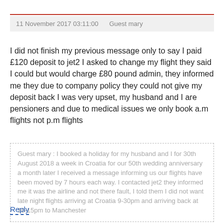11 November 2017 03:11:00    Guest mary
I did not finish my previous message only to say I paid £120 deposit to jet2 I asked to change my flight they said I could but would charge £80 pound admin, they informed me they due to company policy they could not give my deposit back I was very upset, my husband and I are pensioners and due to medical issues we only book a.m flights not p.m flights
Guest mary : I booked a holiday for my husband and I for 30th August 2018 a week in Croatia for our 50th wedding anniversary a month later I received a message informing us our flights have been moved by 7 hours each way. I contacted jet2 they informed me it was the airline and not there fault, I told them I did not want late night flights arriving at Croatia 9-30pm and arriving back at 10-15pm to Manchester
Reply